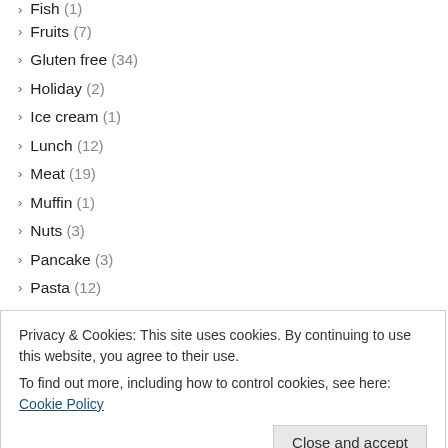Fish (1)
Fruits (7)
Gluten free (34)
Holiday (2)
Ice cream (1)
Lunch (12)
Meat (19)
Muffin (1)
Nuts (3)
Pancake (3)
Pasta (12)
Pizza (4)
Potatoes (24)
Salad (5)
Seafood (8)
Privacy & Cookies: This site uses cookies. By continuing to use this website, you agree to their use.
To find out more, including how to control cookies, see here: Cookie Policy
Waffles (2)